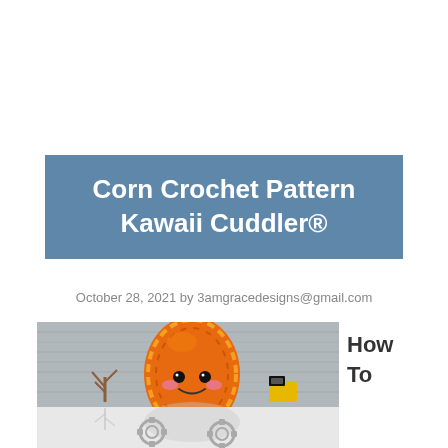Corn Crochet Pattern Kawaii Cuddler®
October 28, 2021 by 3amgracedesigns@gmail.com
[Figure (photo): A kawaii-style crocheted corn plushie in orange/yellow variegated yarn with a cute face (black button eyes, pink cheeks, smile), photographed against a grey wood background with small decorative items nearby. The bottom portion shows a reflection on a white surface with grey gear/cogwheel shapes.]
How To